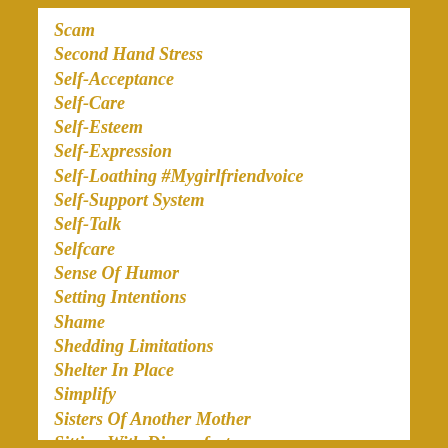Scam
Second Hand Stress
Self-Acceptance
Self-Care
Self-Esteem
Self-Expression
Self-Loathing #Mygirlfriendvoice
Self-Support System
Self-Talk
Selfcare
Sense Of Humor
Setting Intentions
Shame
Shedding Limitations
Shelter In Place
Simplify
Sisters Of Another Mother
Sitting With Discomfort